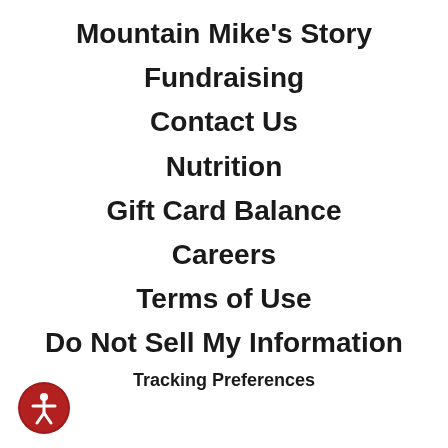Mountain Mike's Story
Fundraising
Contact Us
Nutrition
Gift Card Balance
Careers
Terms of Use
Do Not Sell My Information
Tracking Preferences
[Figure (logo): Red circular accessibility icon with a white human figure (wheelchair/person symbol) in the center]